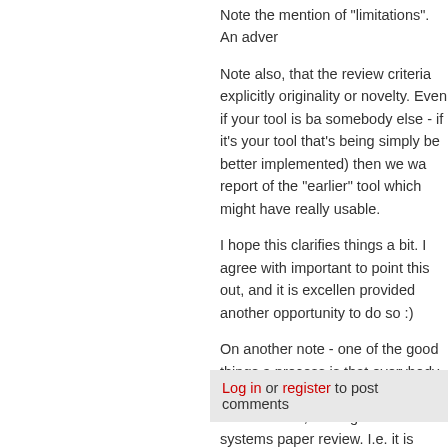Note the mention of "limitations". An adve...
Note also, that the review criteria explicitly ... originality or novelty. Even if your tool is ba... somebody else - if it's your tool that's being... simply be better implemented) then we wa... report of the "earlier" tool which might have... really usable.
I hope this clarifies things a bit. I agree with... important to point this out, and it is excellen... provided another opportunity to do so :)
On another note - one of the good things a... process is that everybody can spot it on the... reviewer, for some reason, didn't get into th... systems paper review. I.e. it is easily corre...
Best Regards,
Pascal.
Log in or register to post comments